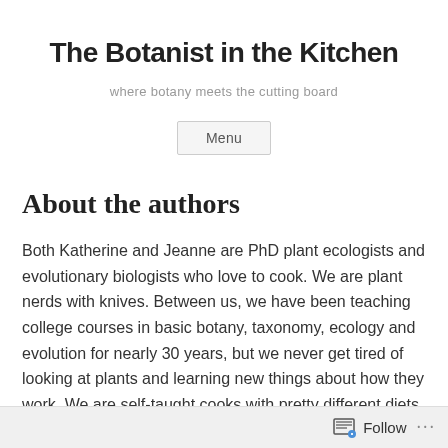The Botanist in the Kitchen
where botany meets the cutting board
Menu
About the authors
Both Katherine and Jeanne are PhD plant ecologists and evolutionary biologists who love to cook.  We are plant nerds with knives.  Between us, we have been teaching college courses in basic botany, taxonomy, ecology and evolution for nearly 30 years, but we never get tired of looking at plants and learning new things about how they work.  We are self-taught cooks with pretty different diets.  Katherine is a long-
Follow ...